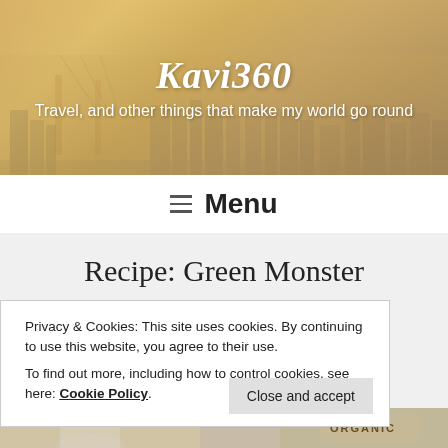[Figure (photo): Blog header banner with city skyline background (San Francisco) in warm sepia/golden tones]
Kavi360
Travel, and other things that make my world go round
≡ Menu
Recipe: Green Monster
Privacy & Cookies: This site uses cookies. By continuing to use this website, you agree to their use.
To find out more, including how to control cookies, see here: Cookie Policy
Close and accept
[Figure (photo): Partial bottom photo strip showing organic product packaging]